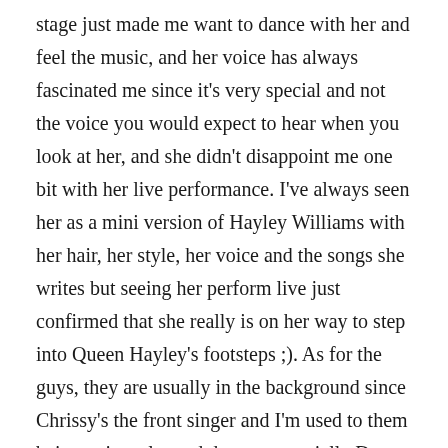stage just made me want to dance with her and feel the music, and her voice has always fascinated me since it's very special and not the voice you would expect to hear when you look at her, and she didn't disappoint me one bit with her live performance. I've always seen her as a mini version of Hayley Williams with her hair, her style, her voice and the songs she writes but seeing her perform live just confirmed that she really is on her way to step into Queen Hayley's footsteps ;). As for the guys, they are usually in the background since Chrissy's the front singer and I'm used to them being quite calm and decent, especially Dan. And yet they surprised me. They're stage present was different from Chrissy's which doesn't mean it was less, in fact they were so into what they were playing that they had just as much energy as Chrissy. Especially Will, the way he played the drums was so